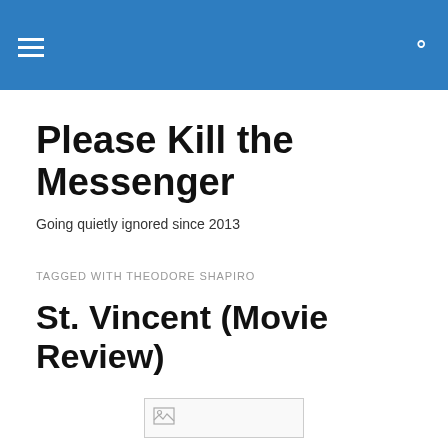Please Kill the Messenger — navigation header bar
Please Kill the Messenger
Going quietly ignored since 2013
TAGGED WITH THEODORE SHAPIRO
St. Vincent (Movie Review)
[Figure (other): Broken/missing image placeholder for article thumbnail]